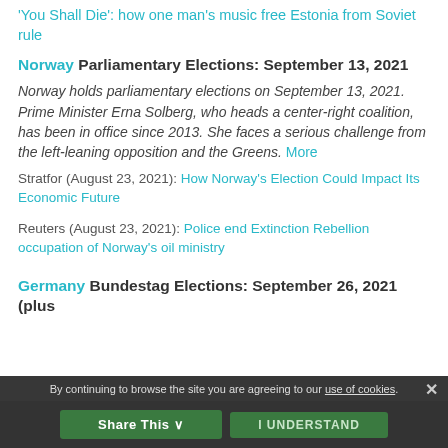'You Shall Die': how one man's music free Estonia from Soviet rule
Norway Parliamentary Elections: September 13, 2021
Norway holds parliamentary elections on September 13, 2021. Prime Minister Erna Solberg, who heads a center-right coalition, has been in office since 2013. She faces a serious challenge from the left-leaning opposition and the Greens. More
Stratfor (August 23, 2021): How Norway's Election Could Impact Its Economic Future
Reuters (August 23, 2021): Police end Extinction Rebellion occupation of Norway's oil ministry
Germany Bundestag Elections: September 26, 2021 (plus
By continuing to browse the site you are agreeing to our use of cookies.
Share This